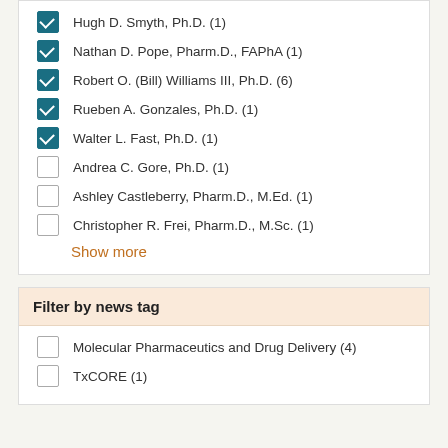Hugh D. Smyth, Ph.D. (1)
Nathan D. Pope, Pharm.D., FAPhA (1)
Robert O. (Bill) Williams III, Ph.D. (6)
Rueben A. Gonzales, Ph.D. (1)
Walter L. Fast, Ph.D. (1)
Andrea C. Gore, Ph.D. (1)
Ashley Castleberry, Pharm.D., M.Ed. (1)
Christopher R. Frei, Pharm.D., M.Sc. (1)
Show more
Filter by news tag
Molecular Pharmaceutics and Drug Delivery (4)
TxCORE (1)